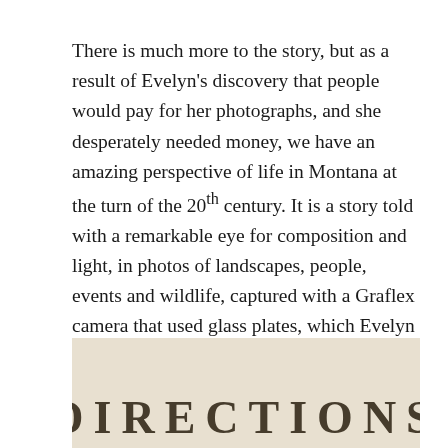There is much more to the story, but as a result of Evelyn's discovery that people would pay for her photographs, and she desperately needed money, we have an amazing perspective of life in Montana at the turn of the 20th century. It is a story told with a remarkable eye for composition and light, in photos of landscapes, people, events and wildlife, captured with a Graflex camera that used glass plates, which Evelyn developed herself (when she wasn't cooking, gardening, churning butter, repairing fences, mending clothes, etc.)
[Figure (photo): Partial view of a vintage document or book page showing large bold serif letters spelling 'DIRECTIONS' at the bottom, printed on aged cream/beige paper.]